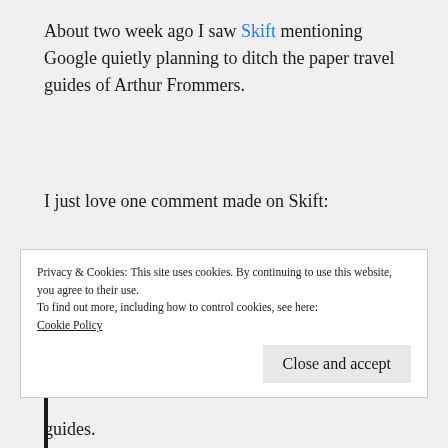About two week ago I saw Skift mentioning Google quietly planning to ditch the paper travel guides of Arthur Frommers.
I just love one comment made on Skift:
“Do they [ed:Google] really think the content that they acquired from the Frommer’s deal has a longer shelf life than yogurt?”
Privacy & Cookies: This site uses cookies. By continuing to use this website, you agree to their use.
To find out more, including how to control cookies, see here:
Cookie Policy
guides.